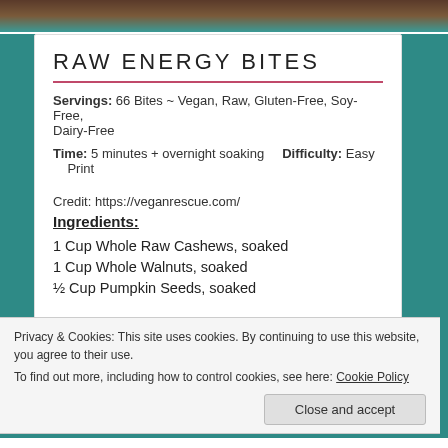RAW ENERGY BITES
Servings: 66 Bites ~ Vegan, Raw, Gluten-Free, Soy-Free, Dairy-Free
Time: 5 minutes + overnight soaking    Difficulty: Easy    Print
Credit: https://veganrescue.com/
Ingredients:
1 Cup Whole Raw Cashews, soaked
1 Cup Whole Walnuts, soaked
½ Cup Pumpkin Seeds, soaked
Privacy & Cookies: This site uses cookies. By continuing to use this website, you agree to their use. To find out more, including how to control cookies, see here: Cookie Policy
Close and accept